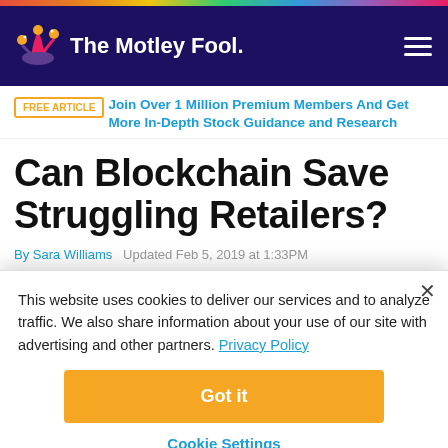[Figure (logo): The Motley Fool logo with jester hat icon on dark navy background navigation bar]
FREE ARTICLE  Join Over 1 Million Premium Members And Get More In-Depth Stock Guidance and Research
Can Blockchain Save Struggling Retailers?
By Sara Williams  Updated Feb 5, 2019 at 1:33PM
This website uses cookies to deliver our services and to analyze traffic. We also share information about your use of our site with advertising and other partners. Privacy Policy
Got it
Cookie Settings